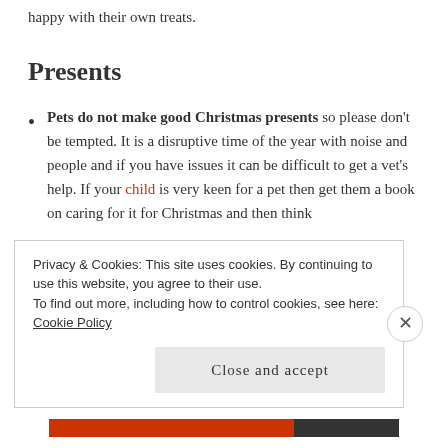happy with their own treats.
Presents
Pets do not make good Christmas presents so please don't be tempted. It is a disruptive time of the year with noise and people and if you have issues it can be difficult to get a vet's help. If your child is very keen for a pet then get them a book on caring for it for Christmas and then think
Privacy & Cookies: This site uses cookies. By continuing to use this website, you agree to their use.
To find out more, including how to control cookies, see here: Cookie Policy
Close and accept